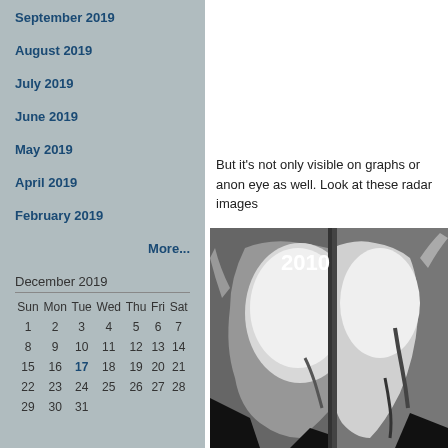September 2019
August 2019
July 2019
June 2019
May 2019
April 2019
February 2019
More...
| Sun | Mon | Tue | Wed | Thu | Fri | Sat |
| --- | --- | --- | --- | --- | --- | --- |
| 1 | 2 | 3 | 4 | 5 | 6 | 7 |
| 8 | 9 | 10 | 11 | 12 | 13 | 14 |
| 15 | 16 | 17 | 18 | 19 | 20 | 21 |
| 22 | 23 | 24 | 25 | 26 | 27 | 28 |
| 29 | 30 | 31 |  |  |  |  |
But it's not only visible on graphs or anon eye as well. Look at these radar images
[Figure (photo): Radar satellite images of glaciers labeled 2010]